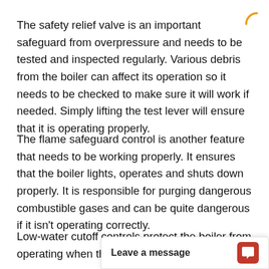The safety relief valve is an important safeguard from overpressure and needs to be tested and inspected regularly. Various debris from the boiler can affect its operation so it needs to be checked to make sure it will work if needed. Simply lifting the test lever will ensure that it is operating properly.
The flame safeguard control is another feature that needs to be working properly. It ensures that the boiler lights, operates and shuts down properly. It is responsible for purging dangerous combustible gases and can be quite dangerous if it isn't operating correctly.
Low-water cutoff controls protect the boiler from operating when the[...] these, the boiler can[...]